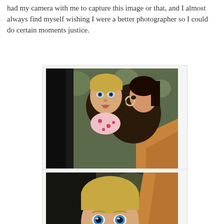had my camera with me to capture this image or that, and I almost always find myself wishing I were a better photographer so I could do certain moments justice.
[Figure (photo): A toddler with blonde hair and blue eyes being held by a woman with dark hair and a hoop earring, both looking to the left, outdoors with blurred background.]
[Figure (photo): Close-up of the same toddler with blonde hair and blue eyes, sitting in what appears to be a wooden chair or furniture piece, wearing a dark top with a pink polka-dot bib.]